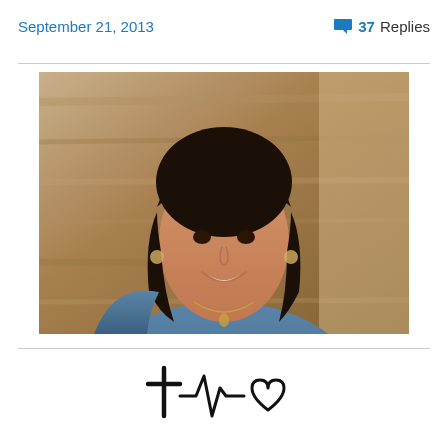September 21, 2013
💬 37 Replies
[Figure (photo): Portrait photo of a woman with dark hair, wearing a blue sleeveless top and necklace, smiling, with a wood-textured background]
[Figure (illustration): Signature/logo combining a cross, heartbeat/EKG line, and a heart outline drawn in black ink style]